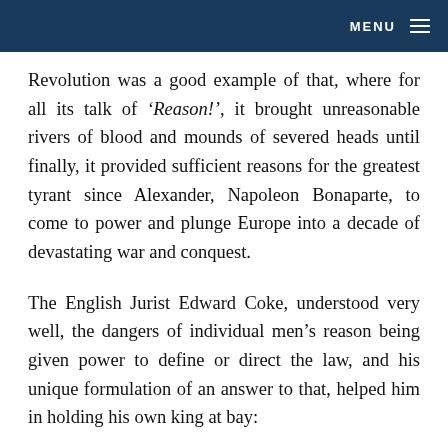MENU
Revolution was a good example of that, where for all its talk of ‘Reason!’, it brought unreasonable rivers of blood and mounds of severed heads until finally, it provided sufficient reasons for the greatest tyrant since Alexander, Napoleon Bonaparte, to come to power and plunge Europe into a decade of devastating war and conquest.
The English Jurist Edward Coke, understood very well, the dangers of individual men’s reason being given power to define or direct the law, and his unique formulation of an answer to that, helped him in holding his own king at bay: